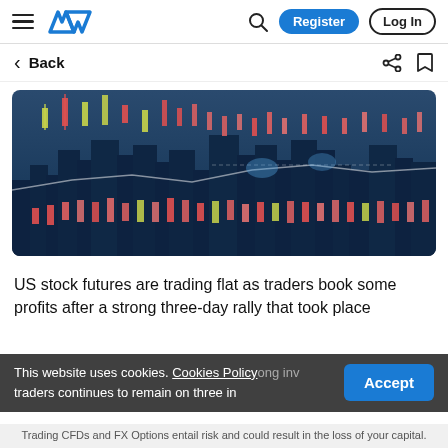AVA — Register | Log In
Back
[Figure (photo): Financial trading chart overlay on a blue-tinted city skyline at night, showing candlestick charts and trading indicators.]
US stock futures are trading flat as traders book some profits after a strong three-day rally that took place [...]ong inv[...] traders continues to remain on three in[...]
This website uses cookies. Cookies Policy
Accept
Trading CFDs and FX Options entail risk and could result in the loss of your capital.